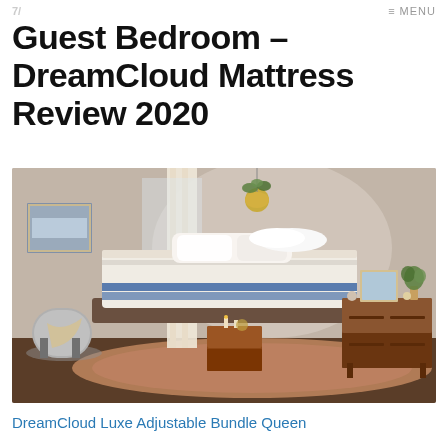≡ MENU
Guest Bedroom – DreamCloud Mattress Review 2020
[Figure (photo): A bedroom scene showing a DreamCloud mattress on an adjustable base, positioned at an angle. The room features warm lighting, a wooden nightstand with candles and small decorative items, a wooden dresser with a framed picture and plant, a colorful Persian rug, a modern chair in the corner, a hanging gold pendant light with greenery, white curtains, and a landscape painting on the wall.]
DreamCloud Luxe Adjustable Bundle Queen